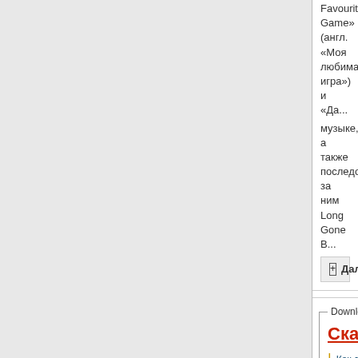Favourite Game» (англ. «Моя любимая игра») и «Да... музыке, а также последовавшего за ним Long Gone B...
⊞ Далее:
Скачать (бесплатно и на ма...
Как скачивать · Что такое torrent (торрент)